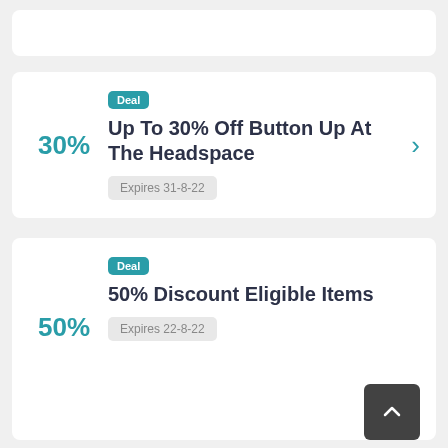30% Up To 30% Off Button Up At The Headspace — Deal — Expires 31-8-22
50% 50% Discount Eligible Items — Deal — Expires 22-8-22